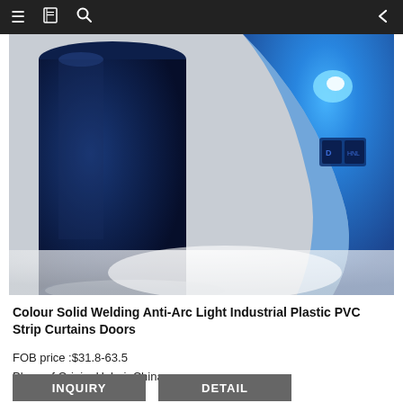≡  [book icon]  [search icon]  ←
[Figure (photo): Close-up photo of blue transparent PVC strip curtain rolls/sheets on a white background. A dark navy cylindrical roll is on the left, and a bright blue curved sheet is on the right with a small embossed logo/label visible.]
Colour Solid Welding Anti-Arc Light Industrial Plastic PVC Strip Curtains Doors
FOB price :$31.8-63.5
Place of Origin: Hebei, China
INQUIRY
DETAIL